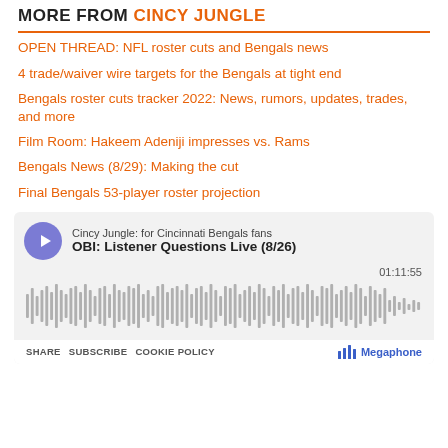MORE FROM CINCY JUNGLE
OPEN THREAD: NFL roster cuts and Bengals news
4 trade/waiver wire targets for the Bengals at tight end
Bengals roster cuts tracker 2022: News, rumors, updates, trades, and more
Film Room: Hakeem Adeniji impresses vs. Rams
Bengals News (8/29): Making the cut
Final Bengals 53-player roster projection
[Figure (other): Podcast widget for 'OBI: Listener Questions Live (8/26)' from Cincy Jungle: for Cincinnati Bengals fans, showing play button, audio waveform, duration 01:11:55, and footer with SHARE, SUBSCRIBE, COOKIE POLICY links and Megaphone logo.]